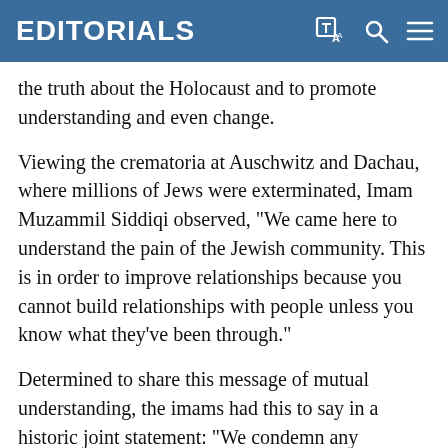EDITORIALS
the truth about the Holocaust and to promote understanding and even change.
Viewing the crematoria at Auschwitz and Dachau, where millions of Jews were exterminated, Imam Muzammil Siddiqi observed, "We came here to understand the pain of the Jewish community. This is in order to improve relationships because you cannot build relationships with people unless you know what they've been through."
Determined to share this message of mutual understanding, the imams had this to say in a historic joint statement: "We condemn any attempts to deny this historical reality [of the Holocaust] and declare such denials or any justification of this tragedy as